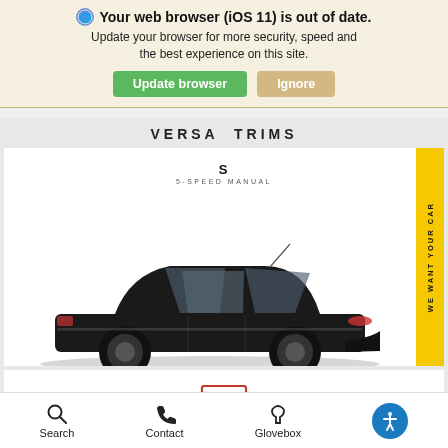Your web browser (iOS 11) is out of date. Update your browser for more security, speed and the best experience on this site.
Update browser | Ignore
VERSA TRIMS
[Figure (photo): Black Nissan Versa sedan side profile view with S trim label and 5-SPEED MANUAL subtitle]
[Figure (illustration): Chat bubble icon with three dots indicating Messages]
Messages
WE WANT YOUR CAR
Search   Contact   Glovebox   [accessibility icon]